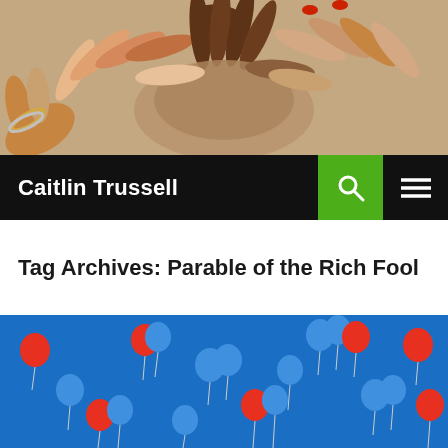[Figure (photo): Close-up photo of multiple diverse hands reaching in together from all sides, forming a circle, showing unity and community. Bracelets visible on one wrist.]
Caitlin Trussell
Tag Archives: Parable of the Rich Fool
[Figure (photo): Photo of numerous red and blue balloons floating in a clear blue sky, many clusters of balloons with strings visible.]